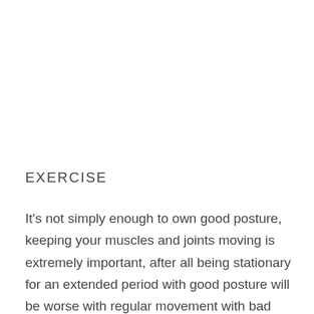EXERCISE
It's not simply enough to own good posture, keeping your muscles and joints moving is extremely important, after all being stationary for an extended period with good posture will be worse with regular movement with bad posture. Using the muscles will keep them strong enough to support you effectively on top of all other benefits to your bones, muscles